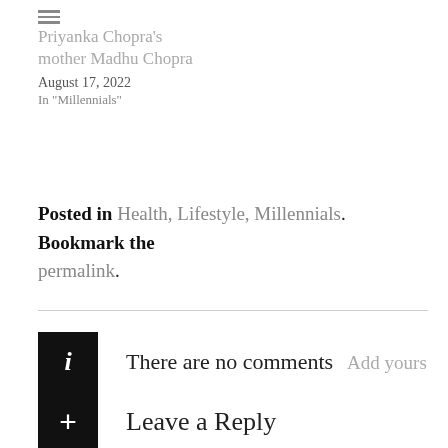Priyanka Chopra's mother Madhu Chopra
August 17, 2022
In "Millennials"
Posted in Health, Lifestyle, Millennials. Bookmark the permalink.
There are no comments  Add yours
Leave a Reply